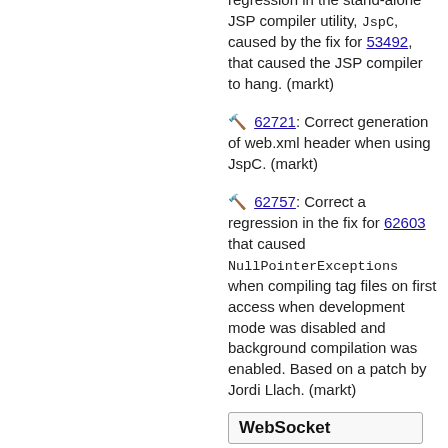🔨 62721: Correct generation of web.xml header when using JspC. (markt)
🔨 62757: Correct a regression in the fix for 62603 that caused NullPointerExceptions when compiling tag files on first access when development mode was disabled and background compilation was enabled. Based on a patch by Jordi Llach. (markt)
WebSocket